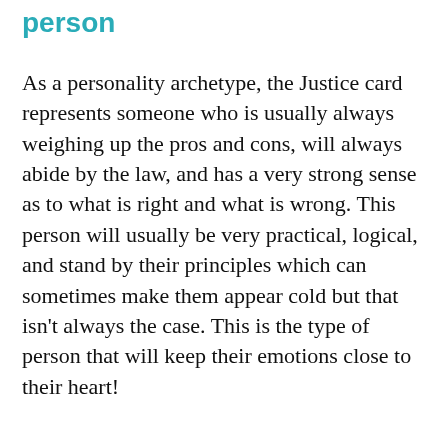person
As a personality archetype, the Justice card represents someone who is usually always weighing up the pros and cons, will always abide by the law, and has a very strong sense as to what is right and what is wrong. This person will usually be very practical, logical, and stand by their principles which can sometimes make them appear cold but that isn't always the case. This is the type of person that will keep their emotions close to their heart!